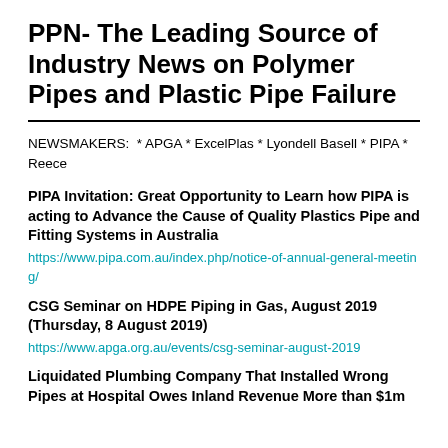PPN- The Leading Source of Industry News on Polymer Pipes and Plastic Pipe Failure
NEWSMAKERS:  * APGA * ExcelPlas * Lyondell Basell * PIPA * Reece
PIPA Invitation: Great Opportunity to Learn how PIPA is acting to Advance the Cause of Quality Plastics Pipe and Fitting Systems in Australia
https://www.pipa.com.au/index.php/notice-of-annual-general-meeting/
CSG Seminar on HDPE Piping in Gas, August 2019 (Thursday, 8 August 2019)
https://www.apga.org.au/events/csg-seminar-august-2019
Liquidated Plumbing Company That Installed Wrong Pipes at Hospital Owes Inland Revenue More than $1m